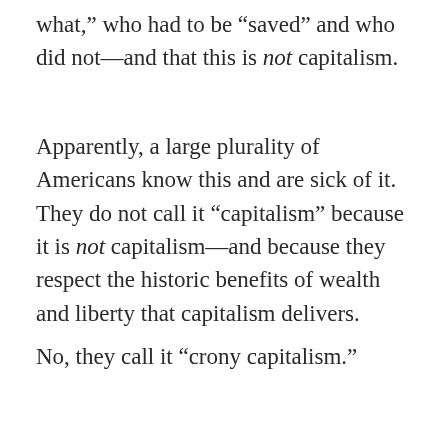what,” who had to be “saved” and who did not—and that this is not capitalism.
Apparently, a large plurality of Americans know this and are sick of it. They do not call it “capitalism” because it is not capitalism—and because they respect the historic benefits of wealth and liberty that capitalism delivers.
No, they call it “crony capitalism.”